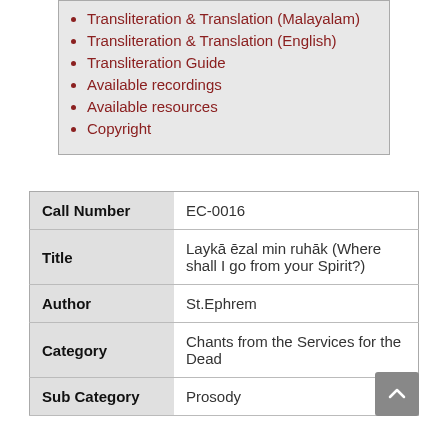Transliteration & Translation (Malayalam)
Transliteration & Translation (English)
Transliteration Guide
Available recordings
Available resources
Copyright
| Field | Value |
| --- | --- |
| Call Number | EC-0016 |
| Title | Laykā ēzal min ruhāk (Where shall I go from your Spirit?) |
| Author | St.Ephrem |
| Category | Chants from the Services for the Dead |
| Sub Category | Prosody |